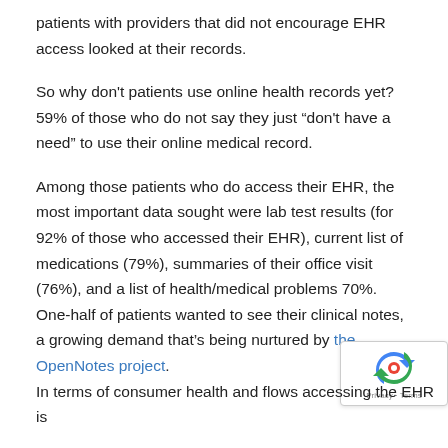patients with providers that did not encourage EHR access looked at their records.
So why don't patients use online health records yet? 59% of those who do not say they just “don't have a need” to use their online medical record.
Among those patients who do access their EHR, the most important data sought were lab test results (for 92% of those who accessed their EHR), current list of medications (79%), summaries of their office visit (76%), and a list of health/medical problems 70%. One-half of patients wanted to see their clinical notes, a growing demand that’s being nurtured by the OpenNotes project.
In terms of consumer health andflows accessing the EHR is